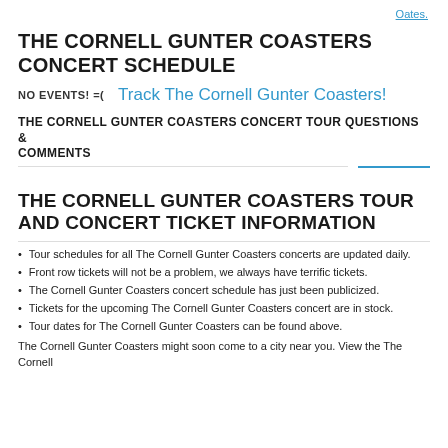Oates.
THE CORNELL GUNTER COASTERS CONCERT SCHEDULE
NO EVENTS! =(   Track The Cornell Gunter Coasters!
THE CORNELL GUNTER COASTERS CONCERT TOUR QUESTIONS & COMMENTS
THE CORNELL GUNTER COASTERS TOUR AND CONCERT TICKET INFORMATION
Tour schedules for all The Cornell Gunter Coasters concerts are updated daily.
Front row tickets will not be a problem, we always have terrific tickets.
The Cornell Gunter Coasters concert schedule has just been publicized.
Tickets for the upcoming The Cornell Gunter Coasters concert are in stock.
Tour dates for The Cornell Gunter Coasters can be found above.
The Cornell Gunter Coasters might soon come to a city near you. View the The Cornell